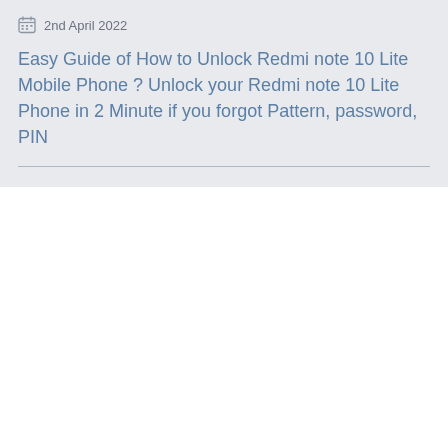2nd April 2022
Easy Guide of How to Unlock Redmi note 10 Lite Mobile Phone ? Unlock your Redmi note 10 Lite Phone in 2 Minute if you forgot Pattern, password, PIN